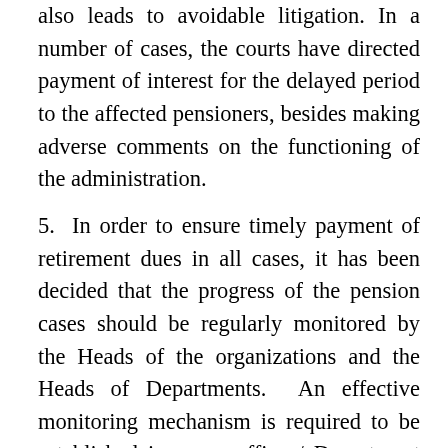also leads to avoidable litigation. In a number of cases, the courts have directed payment of interest for the delayed period to the affected pensioners, besides making adverse comments on the functioning of the administration.
5. In order to ensure timely payment of retirement dues in all cases, it has been decided that the progress of the pension cases should be regularly monitored by the Heads of the organizations and the Heads of Departments. An effective monitoring mechanism is required to be established in every office / Department to review the progress of processing of the pension cases.